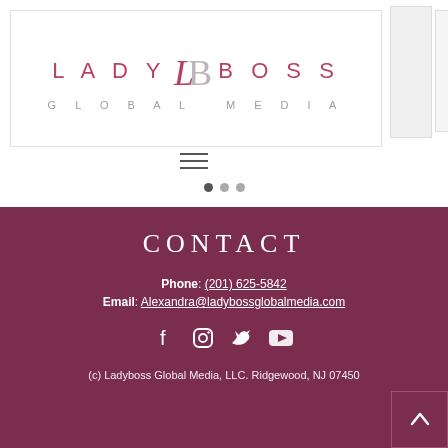[Figure (logo): Lady Boss Global Media logo with stylized LB monogram in rose/grey, text LADY BOSS in rose and GLOBAL MEDIA in grey below]
[Figure (other): Hamburger menu icon (three horizontal lines)]
[Figure (other): Carousel slide indicators: three dots, first one active]
CONTACT
Phone: (201) 625-5842
Email: Alexandra@ladybossglobalmedia.com
[Figure (other): Social media icons: Facebook, Instagram, Twitter, YouTube — white on dark maroon background]
(c) Ladyboss Global Media, LLC. Ridgewood, NJ 07450